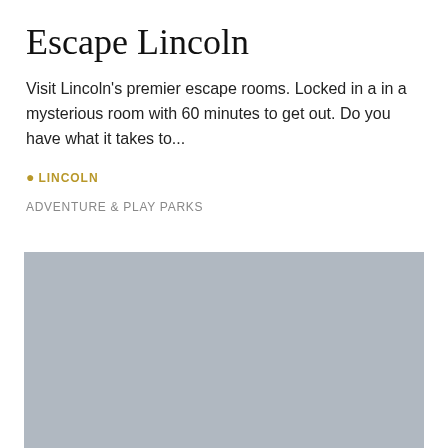Escape Lincoln
Visit Lincoln's premier escape rooms. Locked in a in a mysterious room with 60 minutes to get out. Do you have what it takes to...
LINCOLN
ADVENTURE & PLAY PARKS
[Figure (photo): Gray placeholder image representing a photo of Escape Lincoln]